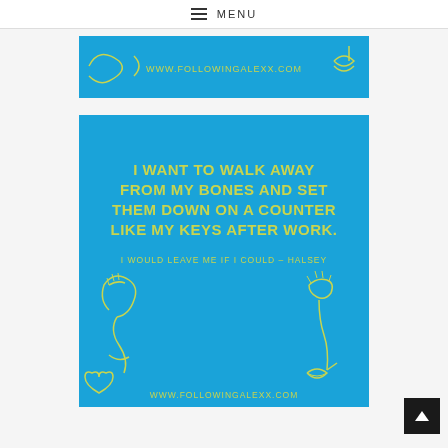MENU
[Figure (illustration): Blue banner with yellow line art drawings and text www.followingalexx.com]
[Figure (illustration): Blue square card with yellow text reading: I WANT TO WALK AWAY FROM MY BONES AND SET THEM DOWN ON A COUNTER LIKE MY KEYS AFTER WORK. I WOULD LEAVE ME IF I COULD - HALSEY. Yellow line art drawings at bottom. www.followingalexx.com]